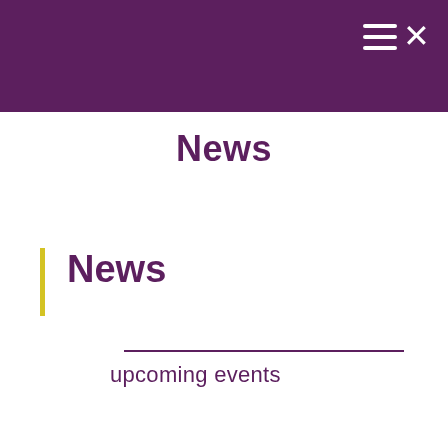≡✕ (navigation menu/close icon)
News
News
upcoming events